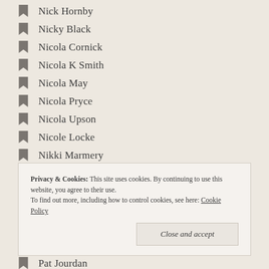Nick Hornby
Nicky Black
Nicola Cornick
Nicola K Smith
Nicola May
Nicola Pryce
Nicola Upson
Nicole Locke
Nikki Marmery
Nikola Scott
Nita Prose
Noel Streatfeild
Orna Ross
Privacy & Cookies: This site uses cookies. By continuing to use this website, you agree to their use. To find out more, including how to control cookies, see here: Cookie Policy
Pat Jourdan